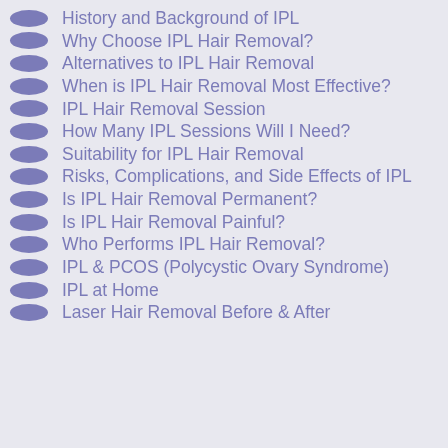History and Background of IPL
Why Choose IPL Hair Removal?
Alternatives to IPL Hair Removal
When is IPL Hair Removal Most Effective?
IPL Hair Removal Session
How Many IPL Sessions Will I Need?
Suitability for IPL Hair Removal
Risks, Complications, and Side Effects of IPL
Is IPL Hair Removal Permanent?
Is IPL Hair Removal Painful?
Who Performs IPL Hair Removal?
IPL & PCOS (Polycystic Ovary Syndrome)
IPL at Home
Laser Hair Removal Before & After